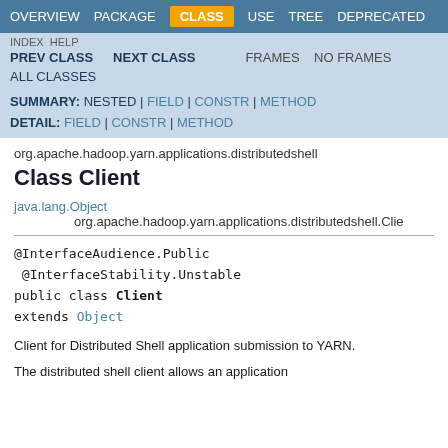OVERVIEW  PACKAGE  CLASS  USE  TREE  DEPRECATED
INDEX  HELP  PREV CLASS  NEXT CLASS  FRAMES  NO FRAMES  ALL CLASSES
SUMMARY: NESTED | FIELD | CONSTR | METHOD  DETAIL: FIELD | CONSTR | METHOD
org.apache.hadoop.yarn.applications.distributedshell
Class Client
java.lang.Object
    org.apache.hadoop.yarn.applications.distributedshell.Clie
@InterfaceAudience.Public
 @InterfaceStability.Unstable
public class Client
extends Object
Client for Distributed Shell application submission to YARN.
The distributed shell client allows an application